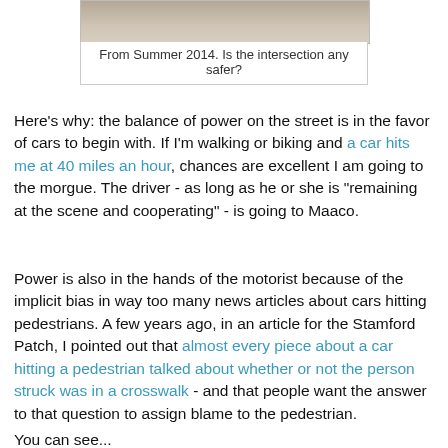[Figure (photo): Cropped photo of a street intersection, partially visible at top of page]
From Summer 2014. Is the intersection any safer?
Here's why: the balance of power on the street is in the favor of cars to begin with. If I'm walking or biking and a car hits me at 40 miles an hour, chances are excellent I am going to the morgue. The driver - as long as he or she is "remaining at the scene and cooperating" - is going to Maaco.
Power is also in the hands of the motorist because of the implicit bias in way too many news articles about cars hitting pedestrians. A few years ago, in an article for the Stamford Patch, I pointed out that almost every piece about a car hitting a pedestrian talked about whether or not the person struck was in a crosswalk - and that people want the answer to that question to assign blame to the pedestrian.
You can see...